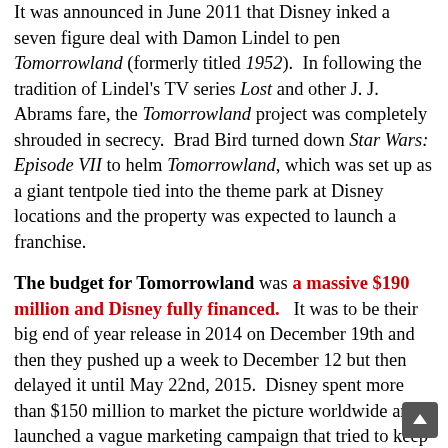It was announced in June 2011 that Disney inked a seven figure deal with Damon Lindel to pen Tomorrowland (formerly titled 1952). In following the tradition of Lindel's TV series Lost and other J. J. Abrams fare, the Tomorrowland project was completely shrouded in secrecy. Brad Bird turned down Star Wars: Episode VII to helm Tomorrowland, which was set up as a giant tentpole tied into the theme park at Disney locations and the property was expected to launch a franchise.
The budget for Tomorrowland was a massive $190 million and Disney fully financed. It was to be their big end of year release in 2014 on December 19th and then they pushed up a week to December 12 but then delayed it until May 22nd, 2015. Disney spent more than $150 million to market the picture worldwide and launched a vague marketing campaign that tried to keep the premise a secret and it clearly worked against the commercial potential. The picture's narrative had no twist and nothing to protect spoilers from, so the secretive nature of the marketing was a gimmick that backfired. It was not clear if Tomorrowland was aimed at children or older audiences and mixed reviews only